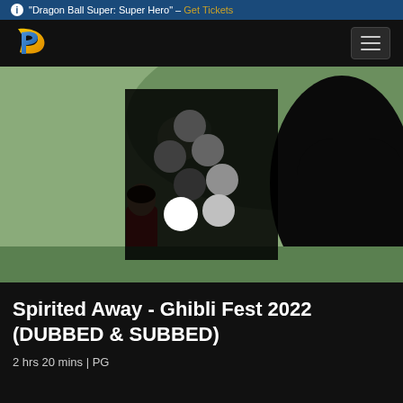"Dragon Ball Super: Super Hero" - Get Tickets
[Figure (logo): Premiere Cinema logo - stylized P in yellow and blue]
[Figure (screenshot): Movie still from Spirited Away showing anime characters with a loading spinner overlay (circles in varying shades of gray and white arranged in a circular pattern)]
Spirited Away - Ghibli Fest 2022 (DUBBED & SUBBED)
2 hrs 20 mins | PG